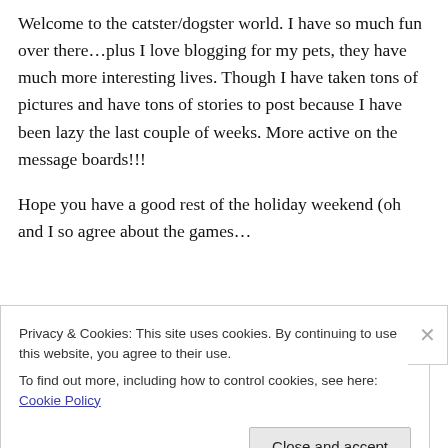Welcome to the catster/dogster world. I have so much fun over there…plus I love blogging for my pets, they have much more interesting lives. Though I have taken tons of pictures and have tons of stories to post because I have been lazy the last couple of weeks. More active on the message boards!!!

Hope you have a good rest of the holiday weekend (oh and I so agree about the games…
Privacy & Cookies: This site uses cookies. By continuing to use this website, you agree to their use.
To find out more, including how to control cookies, see here: Cookie Policy